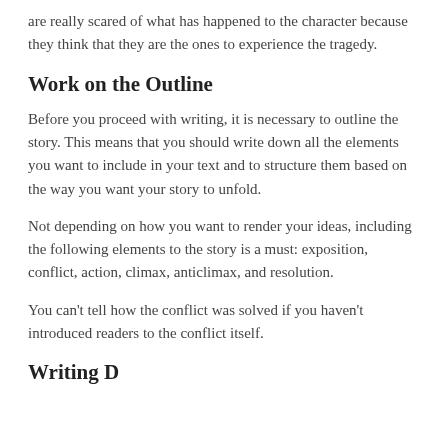are really scared of what has happened to the character because they think that they are the ones to experience the tragedy.
Work on the Outline
Before you proceed with writing, it is necessary to outline the story. This means that you should write down all the elements you want to include in your text and to structure them based on the way you want your story to unfold.
Not depending on how you want to render your ideas, including the following elements to the story is a must: exposition, conflict, action, climax, anticlimax, and resolution.
You can't tell how the conflict was solved if you haven't introduced readers to the conflict itself.
Writing D...